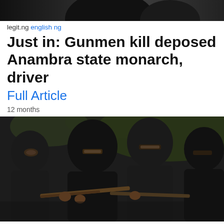[Figure (photo): Partial top image cropped, dark background with silhouettes]
legit.ng english ng
Just in: Gunmen kill deposed Anambra state monarch, driver
Full Article
12 months
[Figure (photo): Four masked gunmen in black balaclavas holding rifles, outdoors with green foliage in background]
leadership.ng english ng
JUST-IN Gunmen Scale Palace